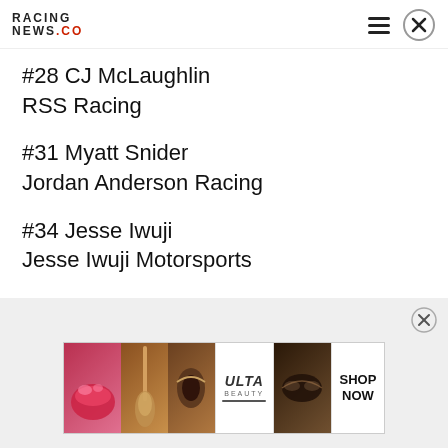RACING NEWS.CO
#28 CJ McLaughlin
RSS Racing
#31 Myatt Snider
Jordan Anderson Racing
#34 Jesse Iwuji
Jesse Iwuji Motorsports
[Figure (advertisement): Ulta Beauty banner advertisement showing cosmetics imagery — lips, makeup brush, eyeliner, Ulta logo, eye shadow, and SHOP NOW text]